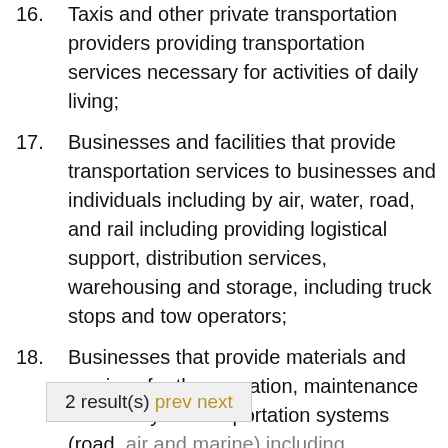16. Taxis and other private transportation providers providing transportation services necessary for activities of daily living;
17. Businesses and facilities that provide transportation services to businesses and individuals including by air, water, road, and rail including providing logistical support, distribution services, warehousing and storage, including truck stops and tow operators;
18. Businesses that provide materials and services for the operation, maintenance and safety of transportation systems (road, air and marine) including delivery of maintenance services such as